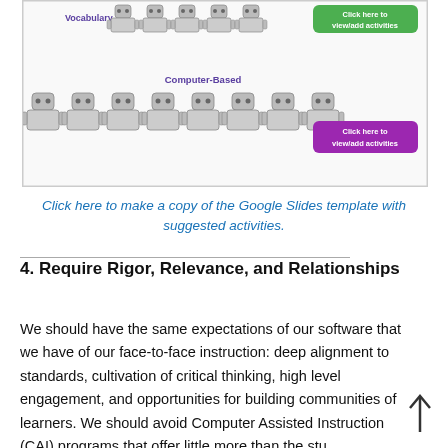[Figure (screenshot): Screenshot of an educational software interface showing rows of robot icons representing student activities. Top row is labeled 'Vocabulary' in purple with a green 'Click here to view/add activities' button. A second row labeled 'Computer-Based' in purple shows larger robot icons with a purple 'Click here to view/add activities' button.]
Click here to make a copy of the Google Slides template with suggested activities.
4. Require Rigor, Relevance, and Relationships
We should have the same expectations of our software that we have of our face-to-face instruction: deep alignment to standards, cultivation of critical thinking, high level engagement, and opportunities for building communities of learners. We should avoid Computer Assisted Instruction (CAI) programs that offer little more than the stu...